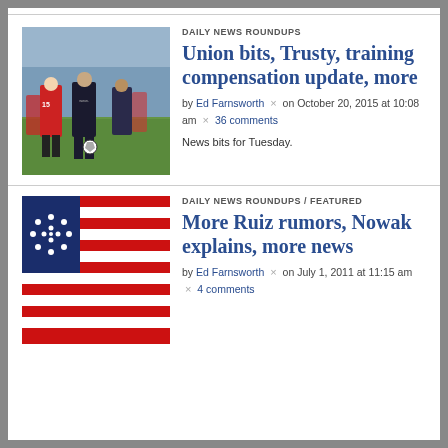[Figure (photo): Soccer match action photo showing players from two teams competing for the ball on a field]
DAILY NEWS ROUNDUPS
Union bits, Trusty, training compensation update, more
by Ed Farnsworth × on October 20, 2015 at 10:08 am × 36 comments
News bits for Tuesday.
[Figure (photo): Betsy Ross style American flag with stars and red and white stripes]
DAILY NEWS ROUNDUPS / FEATURED
More Ruiz rumors, Nowak explains, more news
by Ed Farnsworth × on July 1, 2011 at 11:15 am × 4 comments